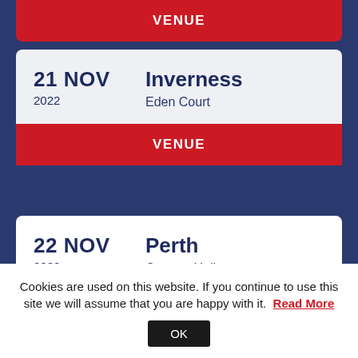VENUE
21 NOV 2022 — Inverness, Eden Court
VENUE
22 NOV 2022 — Perth, Concert Hall
VENUE | TICKETMASTER
Cookies are used on this website. If you continue to use this site we will assume that you are happy with it. Read More
OK